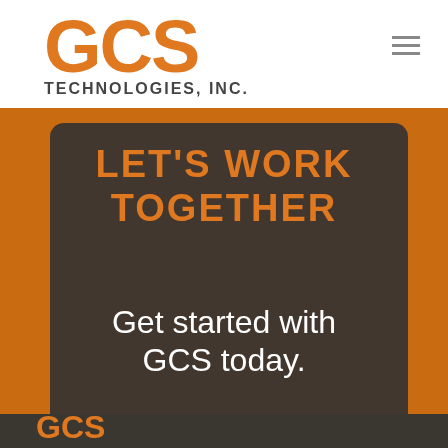[Figure (logo): GCS Technologies, Inc. logo — large orange bold GCS letters with 'TECHNOLOGIES, INC.' in dark gray below]
LET'S WORK TOGETHER
Get started with GCS today.
BOOK A CONSULTATION